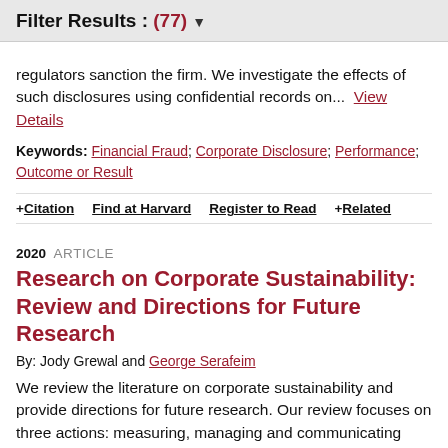Filter Results : (77)
regulators sanction the firm. We investigate the effects of such disclosures using confidential records on...  View Details
Keywords: Financial Fraud; Corporate Disclosure; Performance; Outcome or Result
+ Citation   Find at Harvard   Register to Read   + Related
2020  ARTICLE
Research on Corporate Sustainability: Review and Directions for Future Research
By: Jody Grewal and George Serafeim
We review the literature on corporate sustainability and provide directions for future research. Our review focuses on three actions: measuring, managing and communicating corporate sustainability performance.